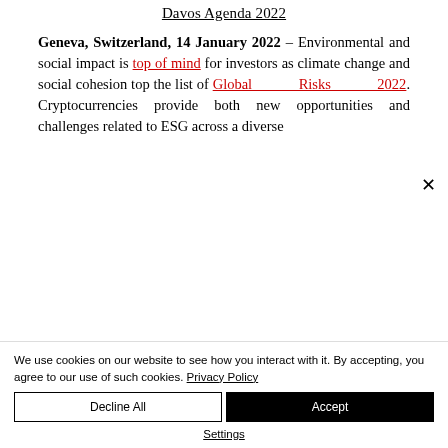Davos Agenda 2022
Geneva, Switzerland, 14 January 2022 – Environmental and social impact is top of mind for investors as climate change and social cohesion top the list of Global Risks 2022. Cryptocurrencies provide both new opportunities and challenges related to ESG across a diverse
We use cookies on our website to see how you interact with it. By accepting, you agree to our use of such cookies. Privacy Policy
Decline All
Accept
Settings